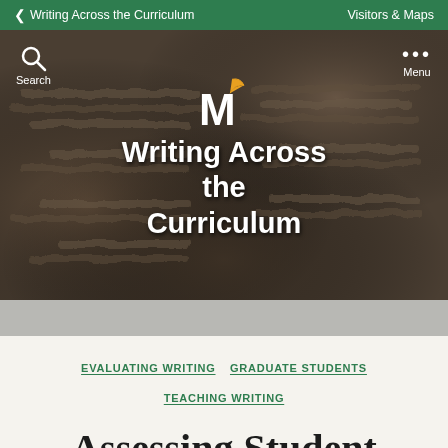Writing Across the Curriculum  Visitors & Maps
[Figure (photo): Hero banner with dark embossed clay/metal texture background, showing the Writing Across the Curriculum logo (stylized M with feather/quill) and title in white text. Search and Menu buttons in upper corners.]
EVALUATING WRITING  GRADUATE STUDENTS  TEACHING WRITING
Assessing Student Writing across the